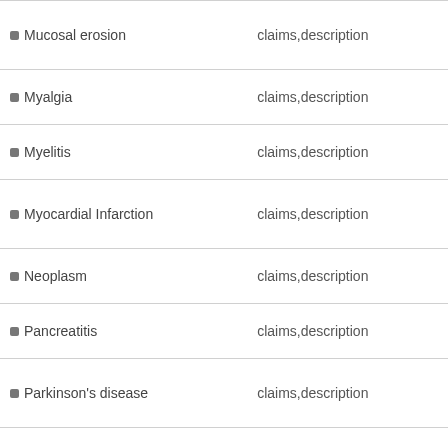| Term | Sources |
| --- | --- |
| Mucosal erosion | claims,description |
| Myalgia | claims,description |
| Myelitis | claims,description |
| Myocardial Infarction | claims,description |
| Neoplasm | claims,description |
| Pancreatitis | claims,description |
| Parkinson's disease | claims,description |
| Paronychia | claims,description |
| Paronychia | claims,description |
| Peptic Ulcer | claims,description |
| Pericarditis | claims,description |